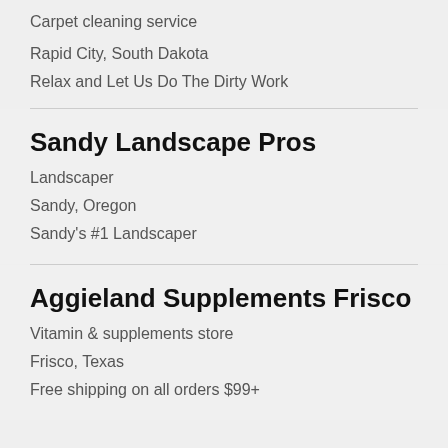Carpet cleaning service
Rapid City, South Dakota
Relax and Let Us Do The Dirty Work
Sandy Landscape Pros
Landscaper
Sandy, Oregon
Sandy's #1 Landscaper
Aggieland Supplements Frisco
Vitamin & supplements store
Frisco, Texas
Free shipping on all orders $99+